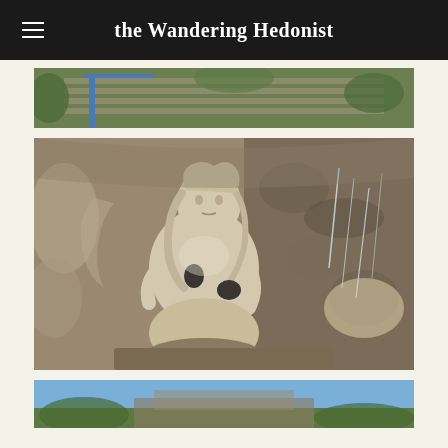the Wandering Hedonist
[Figure (photo): Partial view of stone steps with greenery and blue railing, cropped at top]
[Figure (photo): Close-up photograph of a classical marble statue of a female figure, kneeling or seated, with flowing hair, holding an object, with water streaming beside her and rocky grotto background]
[Figure (photo): Partial view of a landscape with blue sky, cropped at bottom of page]